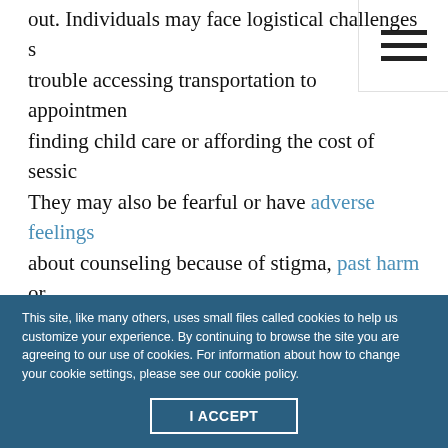out. Individuals may face logistical challenges such as trouble accessing transportation to appointments, finding child care or affording the cost of sessions. They may also be fearful or have adverse feelings about counseling because of stigma, past harm or skepticism about therapy within their culture or family group.
“If people make it to my office, they’re usually hesitant to share their mental health journey with
This site, like many others, uses small files called cookies to help us customize your experience. By continuing to browse the site you are agreeing to our use of cookies. For information about how to change your cookie settings, please see our cookie policy.
I ACCEPT